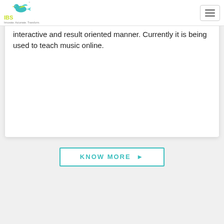IBS — Innovate. Automate. Transform.
interactive and result oriented manner. Currently it is being used to teach music online.
KNOW MORE ▶